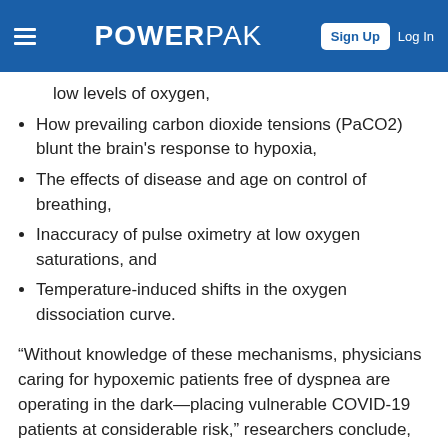POWERPAK | Sign Up | Log In
low levels of oxygen,
How prevailing carbon dioxide tensions (PaCO2) blunt the brain's response to hypoxia,
The effects of disease and age on control of breathing,
Inaccuracy of pulse oximetry at low oxygen saturations, and
Temperature-induced shifts in the oxygen dissociation curve.
“Without knowledge of these mechanisms, physicians caring for hypoxemic patients free of dyspnea are operating in the dark—placing vulnerable COVID-19 patients at considerable risk,” researchers conclude, adding that “features about COVID-19 that physicians find baffling become less strange when viewed in the light of long-established principles of respiratory physiology; an